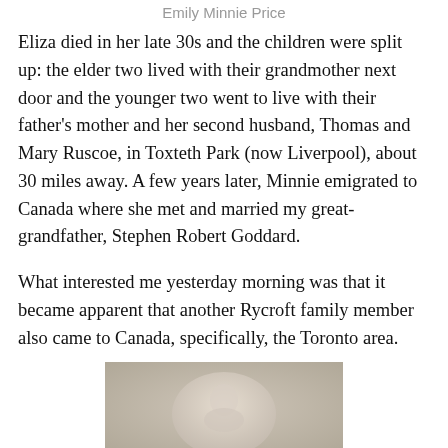Emily Minnie Price
Eliza died in her late 30s and the children were split up: the elder two lived with their grandmother next door and the younger two went to live with their father’s mother and her second husband, Thomas and Mary Ruscoe, in Toxteth Park (now Liverpool), about 30 miles away. A few years later, Minnie emigrated to Canada where she met and married my great-grandfather, Stephen Robert Goddard.
What interested me yesterday morning was that it became apparent that another Rycroft family member also came to Canada, specifically, the Toronto area.
[Figure (photo): A vintage sepia-toned oval portrait photograph, partially visible at the bottom of the page.]